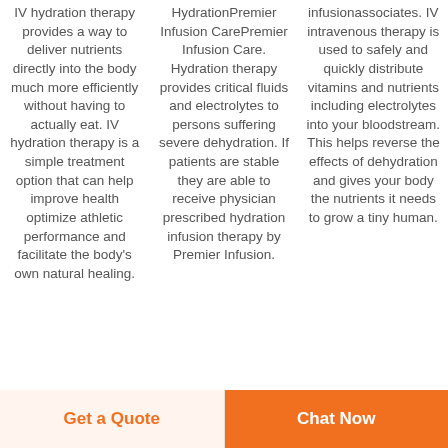IV hydration therapy provides a way to deliver nutrients directly into the body much more efficiently without having to actually eat. IV hydration therapy is a simple treatment option that can help improve health optimize athletic performance and facilitate the body's own natural healing.
HydrationPremier Infusion CarePremier Infusion Care. Hydration therapy provides critical fluids and electrolytes to persons suffering severe dehydration. If patients are stable they are able to receive physician prescribed hydration infusion therapy by Premier Infusion.
infusionassociates. IV intravenous therapy is used to safely and quickly distribute vitamins and nutrients including electrolytes into your bloodstream. This helps reverse the effects of dehydration and gives your body the nutrients it needs to grow a tiny human.